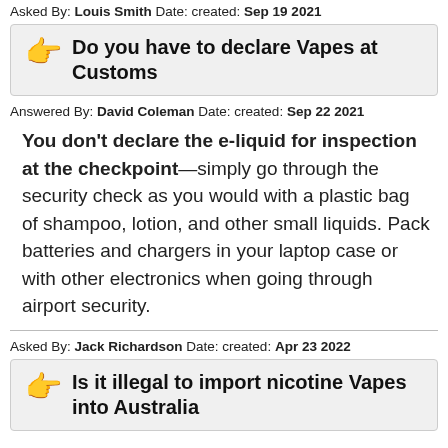Asked By: Louis Smith Date: created: Sep 19 2021
Do you have to declare Vapes at Customs
Answered By: David Coleman Date: created: Sep 22 2021
You don't declare the e-liquid for inspection at the checkpoint—simply go through the security check as you would with a plastic bag of shampoo, lotion, and other small liquids. Pack batteries and chargers in your laptop case or with other electronics when going through airport security.
Asked By: Jack Richardson Date: created: Apr 23 2022
Is it illegal to import nicotine Vapes into Australia